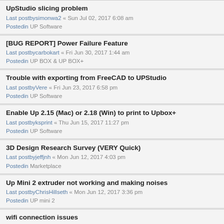UpStudio slicing problem
Last postby simonwa2 « Sun Jul 02, 2017 6:08 am
Posted in UP Software
[BUG REPORT] Power Failure Feature
Last postby carbokart « Fri Jun 30, 2017 1:44 am
Posted in UP BOX & UP BOX+
Trouble with exporting from FreeCAD to UPStudio
Last postby Vere « Fri Jun 23, 2017 6:58 pm
Posted in UP Software
Enable Up 2.15 (Mac) or 2.18 (Win) to print to Upbox+
Last postby ksprint « Thu Jun 15, 2017 11:27 pm
Posted in UP Software
3D Design Research Survey (VERY Quick)
Last postby jeffjnh « Mon Jun 12, 2017 4:03 pm
Posted in Marketplace
Up Mini 2 extruder not working and making noises
Last postby ChrisHillseth « Mon Jun 12, 2017 3:36 pm
Posted in UP mini 2
wifi connection issues
Last postby setaus « Mon Jun 12, 2017 9:23 am
Posted in UP mini 2